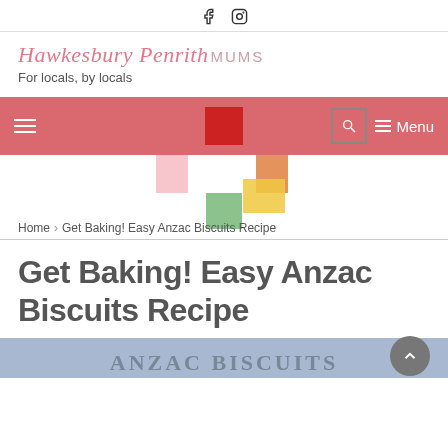Social icons: Facebook, Instagram
[Figure (logo): Hawkesbury Penrith Mums logo with script text and tagline 'For locals, by locals']
For locals, by locals
[Figure (screenshot): Website navigation bar in salmon/red color with hamburger menu on left, red square logo center, search icon and Menu text on right. Decorative colored squares (pink, orange, yellow, green) overlaid below.]
Home > Get Baking! Easy Anzac Biscuits Recipe
Get Baking! Easy Anzac Biscuits Recipe
[Figure (photo): Partial view of an Anzac Biscuits recipe image with light blue background and text 'ANZAC BISCUITS' partially visible at bottom]